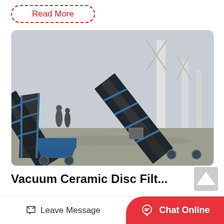Read More
[Figure (photo): Industrial conveyor belt systems with blue metal frames on a factory floor, angled upward, with workers visible in the background]
Vacuum Ceramic Disc Filt...
Leave Message
Chat Online